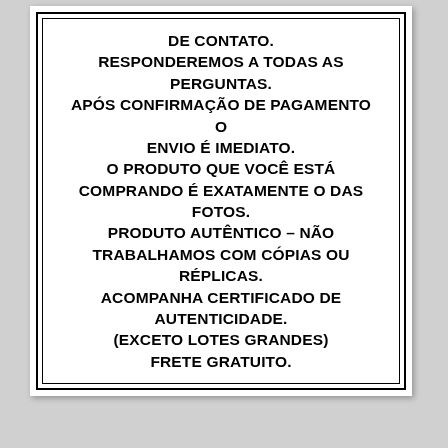DE CONTATO. RESPONDEREMOS A TODAS AS PERGUNTAS. APÓS CONFIRMAÇÃO DE PAGAMENTO O ENVIO É IMEDIATO. O PRODUTO QUE VOCÊ ESTÁ COMPRANDO É EXATAMENTE O DAS FOTOS. PRODUTO AUTÊNTICO – NÃO TRABALHAMOS COM CÓPIAS OU RÉPLICAS. ACOMPANHA CERTIFICADO DE AUTENTICIDADE. (EXCETO LOTES GRANDES) FRETE GRATUITO.